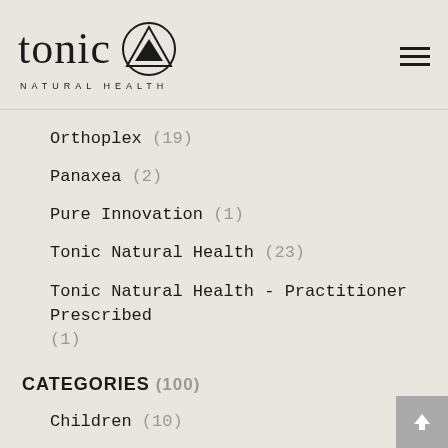tonic NATURAL HEALTH
Orthoplex (19)
Panaxea (2)
Pure Innovation (1)
Tonic Natural Health (23)
Tonic Natural Health - Practitioner Prescribed (1)
CATEGORIES (100)
Children (10)
Fertility (43)
Gut (35)
Immunity (16)
Men (83)
Stress (91)